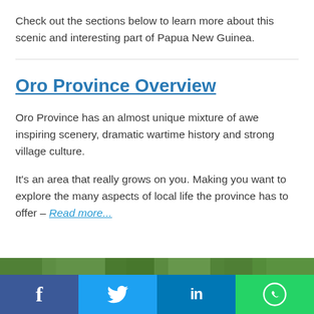Check out the sections below to learn more about this scenic and interesting part of Papua New Guinea.
Oro Province Overview
Oro Province has an almost unique mixture of awe inspiring scenery, dramatic wartime history and strong village culture.
It’s an area that really grows on you. Making you want to explore the many aspects of local life the province has to offer – Read more...
[Figure (photo): Green tropical foliage image strip at bottom of page]
Social sharing bar with Facebook, Twitter, LinkedIn, WhatsApp buttons